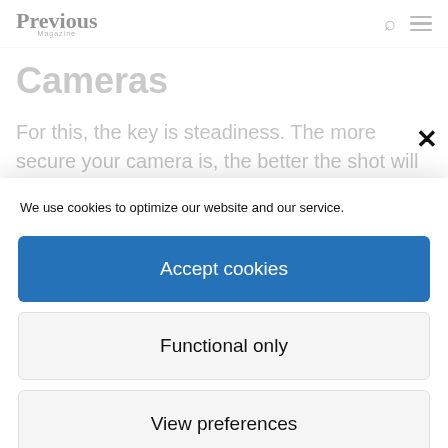Previous Magazine
Cameras
For this, the key is steadiness. The more secure your camera is, the better the shot will be. No matter which
We use cookies to optimize our website and our service.
Accept cookies
Functional only
View preferences
Cookie Policy  Privacy Policy